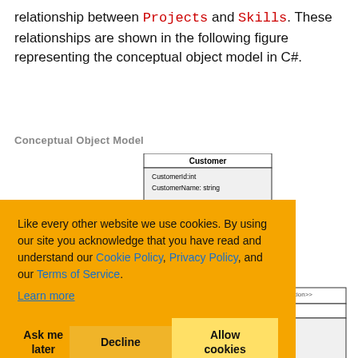relationship between Projects and Skills. These relationships are shown in the following figure representing the conceptual object model in C#.
Conceptual Object Model
[Figure (engineering-diagram): UML class diagram showing Customer class with CustomerId:int and CustomerName:string attributes, connected by 1-to-* relationship line to another entity, and an <<Enumeration>> Skill class listing: Programmer, ME, ChE, CtrIE, EE, SWE, SWArch, DataSci, ProjMgr, BusAnal]
Like every other website we use cookies. By using our site you acknowledge that you have read and understand our Cookie Policy, Privacy Policy, and our Terms of Service. Learn more